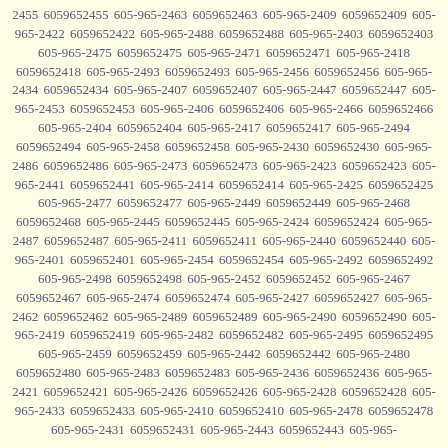2455 6059652455 605-965-2463 6059652463 605-965-2409 6059652409 605-965-2422 6059652422 605-965-2488 6059652488 605-965-2403 6059652403 605-965-2475 6059652475 605-965-2471 6059652471 605-965-2418 6059652418 605-965-2493 6059652493 605-965-2456 6059652456 605-965-2434 6059652434 605-965-2407 6059652407 605-965-2447 6059652447 605-965-2453 6059652453 605-965-2406 6059652406 605-965-2466 6059652466 605-965-2404 6059652404 605-965-2417 6059652417 605-965-2494 6059652494 605-965-2458 6059652458 605-965-2430 6059652430 605-965-2486 6059652486 605-965-2473 6059652473 605-965-2423 6059652423 605-965-2441 6059652441 605-965-2414 6059652414 605-965-2425 6059652425 605-965-2477 6059652477 605-965-2449 6059652449 605-965-2468 6059652468 605-965-2445 6059652445 605-965-2424 6059652424 605-965-2487 6059652487 605-965-2411 6059652411 605-965-2440 6059652440 605-965-2401 6059652401 605-965-2454 6059652454 605-965-2492 6059652492 605-965-2498 6059652498 605-965-2452 6059652452 605-965-2467 6059652467 605-965-2474 6059652474 605-965-2427 6059652427 605-965-2462 6059652462 605-965-2489 6059652489 605-965-2490 6059652490 605-965-2419 6059652419 605-965-2482 6059652482 605-965-2495 6059652495 605-965-2459 6059652459 605-965-2442 6059652442 605-965-2480 6059652480 605-965-2483 6059652483 605-965-2436 6059652436 605-965-2421 6059652421 605-965-2426 6059652426 605-965-2428 6059652428 605-965-2433 6059652433 605-965-2410 6059652410 605-965-2478 6059652478 605-965-2431 6059652431 605-965-2443 6059652443 605-965-